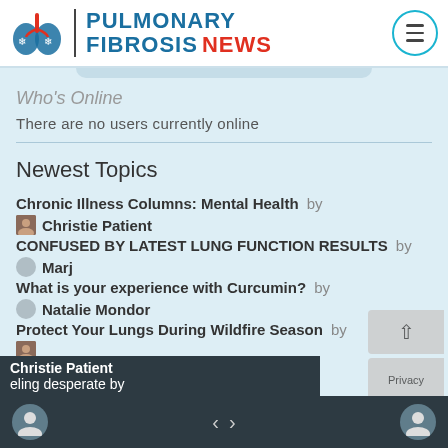[Figure (logo): Pulmonary Fibrosis News logo with lung icon, divider, text and menu button]
Who's Online
There are no users currently online
Newest Topics
Chronic Illness Columns: Mental Health by Christie Patient
CONFUSED BY LATEST LUNG FUNCTION RESULTS by Marj
What is your experience with Curcumin? by Natalie Mondor
Protect Your Lungs During Wildfire Season by Christie Patient
eling desperate by
< >